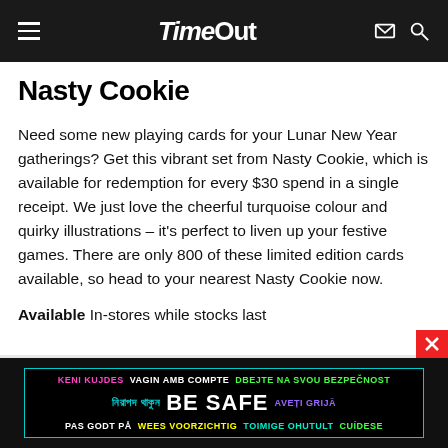TimeOut
Nasty Cookie
Need some new playing cards for your Lunar New Year gatherings? Get this vibrant set from Nasty Cookie, which is available for redemption for every $30 spend in a single receipt. We just love the cheerful turquoise colour and quirky illustrations – it's perfect to liven up your festive games. There are only 800 of these limited edition cards available, so head to your nearest Nasty Cookie now.
Available In-stores while stocks last
[Figure (infographic): BE SAFE multilingual safety advertisement banner with text in multiple languages and colors: KENI KUJDES, VAGIN AMB COMPTE, DBEJTE NA SVOU BEZPECNOST, Bengali text, BE SAFE, AVETI GRIJA, PAS GODT PA, WEES VOORZICHTIG, TOIMIGE OHUTULT, CUIDESE]